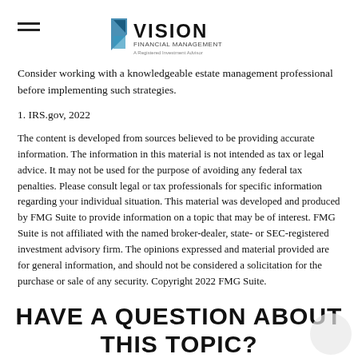Vision Financial Management
Consider working with a knowledgeable estate management professional before implementing such strategies.
1. IRS.gov, 2022
The content is developed from sources believed to be providing accurate information. The information in this material is not intended as tax or legal advice. It may not be used for the purpose of avoiding any federal tax penalties. Please consult legal or tax professionals for specific information regarding your individual situation. This material was developed and produced by FMG Suite to provide information on a topic that may be of interest. FMG Suite is not affiliated with the named broker-dealer, state- or SEC-registered investment advisory firm. The opinions expressed and material provided are for general information, and should not be considered a solicitation for the purchase or sale of any security. Copyright 2022 FMG Suite.
Share |
HAVE A QUESTION ABOUT THIS TOPIC?